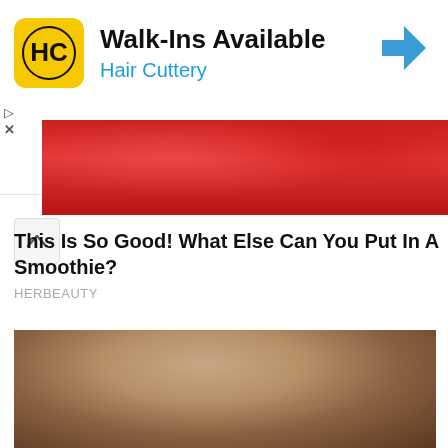[Figure (screenshot): Hair Cuttery advertisement banner with yellow HC logo, 'Walk-Ins Available' title, 'Hair Cuttery' subtitle in blue, and a blue navigation arrow icon on the right. Small play and X controls on left side.]
[Figure (photo): Close-up photo of a red smoothie or blended drink in a glass jar, showing vibrant red color from berry ingredients.]
This Is So Good! What Else Can You Put In A Smoothie?
HERBEAUTY
[Figure (photo): Photo of a young girl with shoulder-length blonde hair wearing a blue headband and a light pink/lavender top with white collar, looking slightly to the side with a serious expression. Background is blurred warm tones suggesting an indoor setting.]